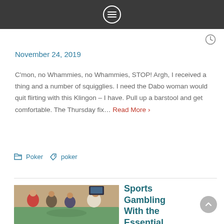[Menu icon in circle]
November 24, 2019
C'mon, no Whammies, no Whammies, STOP! Argh, I received a thing and a number of squigglies. I need the Dabo woman would quit flirting with this Klingon – I have. Pull up a barstool and get comfortable. The Thursday fix… Read More ›
Poker  poker
[Figure (photo): People gathered around a casino table, with a dealer in a red vest and several patrons leaning in]
Sports Gambling With the Essential